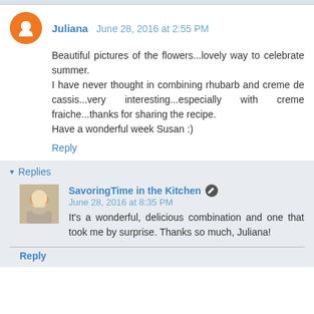Juliana   June 28, 2016 at 2:55 PM
Beautiful pictures of the flowers...lovely way to celebrate summer.
I have never thought in combining rhubarb and creme de cassis...very interesting...especially with creme fraiche...thanks for sharing the recipe.
Have a wonderful week Susan :)
Reply
Replies
SavoringTime in the Kitchen  June 28, 2016 at 8:35 PM
It's a wonderful, delicious combination and one that took me by surprise. Thanks so much, Juliana!
Reply